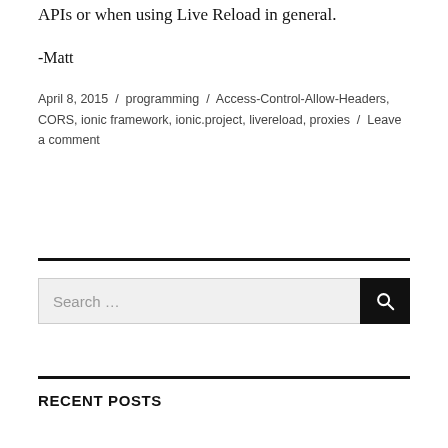Quite useful when developing against multiple APIs or when using Live Reload in general.
-Matt
April 8, 2015 / programming / Access-Control-Allow-Headers, CORS, ionic framework, ionic.project, livereload, proxies / Leave a comment
Search …
RECENT POSTS